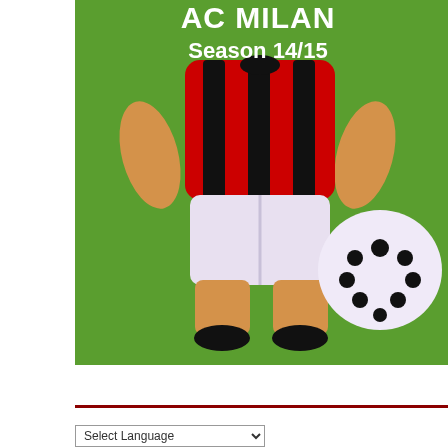[Figure (photo): A cookie shaped like a soccer player in an AC Milan red and black striped jersey with white shorts, lying on a green felt surface next to a round cookie decorated with white icing and black spots resembling a soccer ball. Text overlay reads 'AC MILAN Season 14/15' in white bold lettering.]
Select Language